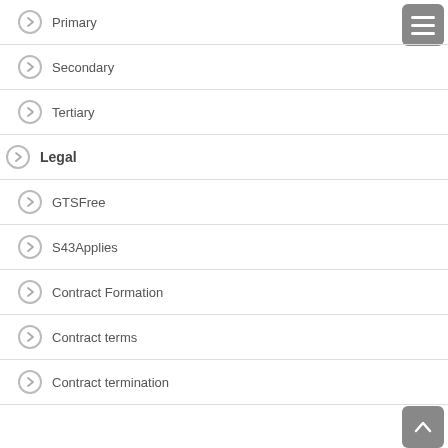Primary
Secondary
Tertiary
Legal
GTSFree
S43Applies
Contract Formation
Contract terms
Contract termination